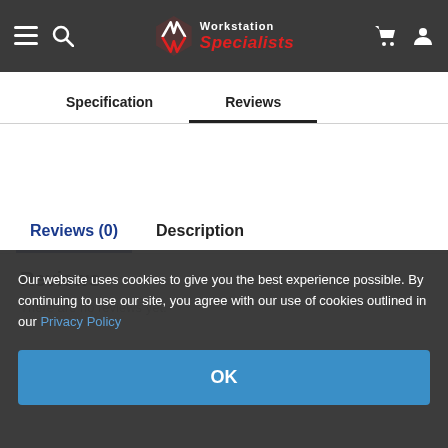Workstation Specialists
Specification    Reviews
Reviews (0)    Description
Reviews
There are no reviews yet.
Our website uses cookies to give you the best experience possible. By continuing to use our site, you agree with our use of cookies outlined in our Privacy Policy
OK
Be the first to review “PNY NVIDIA A10